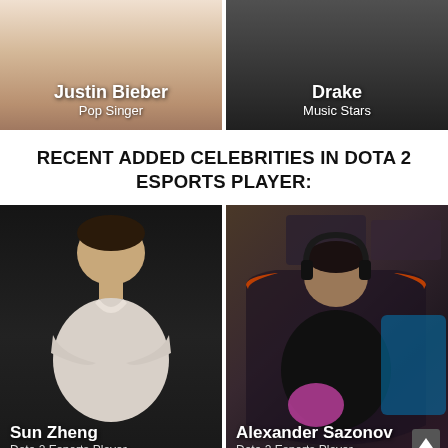[Figure (photo): Photo card of Justin Bieber labeled Pop Singer, partial face visible from chin down with light skin tone background]
[Figure (photo): Photo card of Drake labeled Music Stars, dark background with person in dark clothing]
RECENT ADDED CELEBRITIES IN DOTA 2 ESPORTS PLAYER:
[Figure (photo): Photo of Sun Zheng, Dota 2 Esports Player, man in white jacket with arms crossed on black background]
[Figure (photo): Photo of Alexander Sazonov, Dota 2 Esports Player, man in gaming chair with headphones in esports setting with pink/purple lighting]